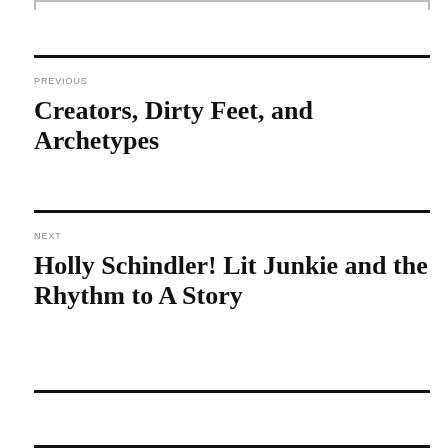PREVIOUS
Creators, Dirty Feet, and Archetypes
NEXT
Holly Schindler! Lit Junkie and the Rhythm to A Story